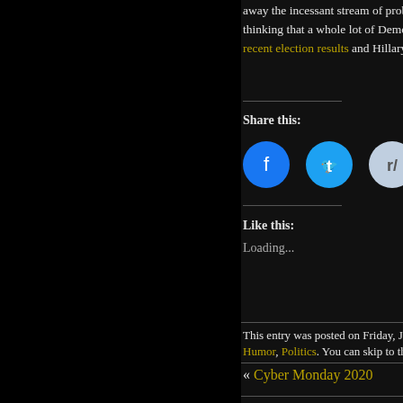away the incessant stream of problems thinking that a whole lot of Democrats recent election results and Hillary's dire wa
Share this:
[Figure (infographic): Row of social share icons: Facebook (blue), Twitter (light blue), Reddit (light blue/gray), Tumblr (dark blue), Pinterest (red), Pocket (red), Email (light gray)]
Like this:
Loading...
Tags: America | Biden | Democrats
This entry was posted on Friday, January 7th, Humor, Politics. You can skip to the end and
« Cyber Monday 2020